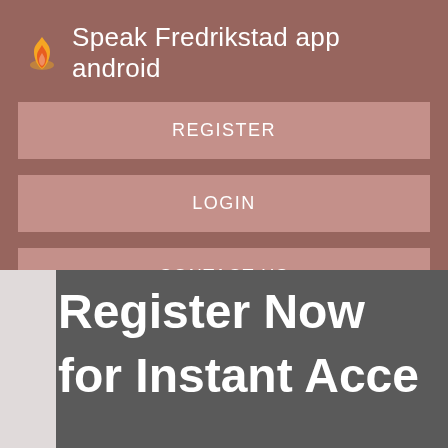Speak Fredrikstad app android
REGISTER
LOGIN
CONTACT US
[Figure (screenshot): Android app screenshot showing bottom portion with 'Register NOW for Instant Acce' text on dark grey background]